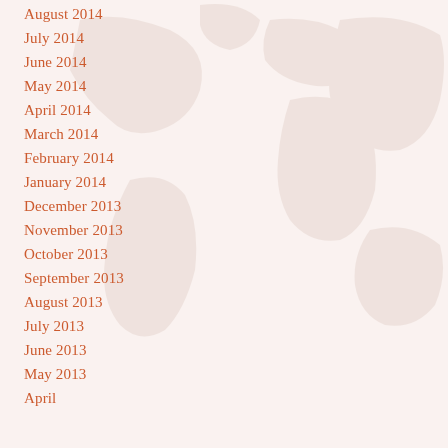August 2014
July 2014
June 2014
May 2014
April 2014
March 2014
February 2014
January 2014
December 2013
November 2013
October 2013
September 2013
August 2013
July 2013
June 2013
May 2013
April…